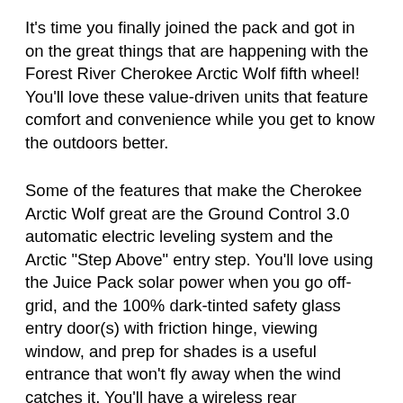It's time you finally joined the pack and got in on the great things that are happening with the Forest River Cherokee Arctic Wolf fifth wheel! You'll love these value-driven units that feature comfort and convenience while you get to know the outdoors better.
Some of the features that make the Cherokee Arctic Wolf great are the Ground Control 3.0 automatic electric leveling system and the Arctic "Step Above" entry step. You'll love using the Juice Pack solar power when you go off-grid, and the 100% dark-tinted safety glass entry door(s) with friction hinge, viewing window, and prep for shades is a useful entrance that won't fly away when the wind catches it. You'll have a wireless rear observation camera with microphone/speaker and night mode operation,